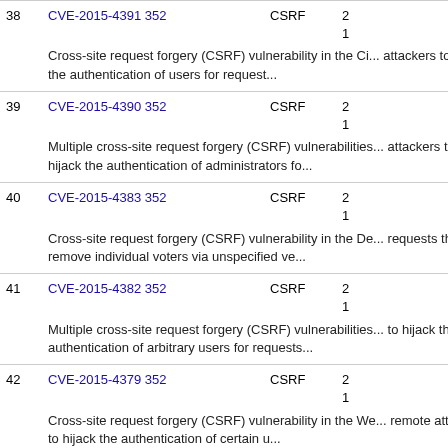| # | CVE | Type | Date |
| --- | --- | --- | --- |
| 38 | CVE-2015-4391 352 | CSRF | 2... |
|  | Cross-site request forgery (CSRF) vulnerability in the Ci... attackers to hijack the authentication of users for request... |  |  |
| 39 | CVE-2015-4390 352 | CSRF | 2... |
|  | Multiple cross-site request forgery (CSRF) vulnerabilities... attackers to hijack the authentication of administrators fo... |  |  |
| 40 | CVE-2015-4383 352 | CSRF | 2... |
|  | Cross-site request forgery (CSRF) vulnerability in the De... requests that remove individual voters via unspecified ve... |  |  |
| 41 | CVE-2015-4382 352 | CSRF | 2... |
|  | Multiple cross-site request forgery (CSRF) vulnerabilities... to hijack the authentication of arbitrary users for requests... |  |  |
| 42 | CVE-2015-4379 352 | CSRF | 2... |
|  | Cross-site request forgery (CSRF) vulnerability in the We... remote attackers to hijack the authentication of certain u... |  |  |
| 43 | CVE-2015-4371 |  | 2... |
|  | Open redirect vulnerability in the Perfecto module befo... |  |  |